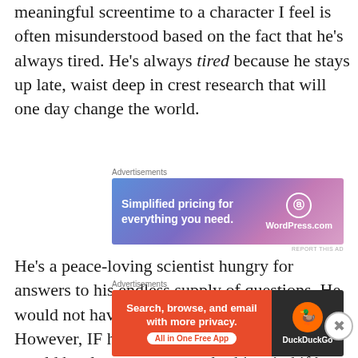meaningful screentime to a character I feel is often misunderstood based on the fact that he’s always tired. He’s always tired because he stays up late, waist deep in crest research that will one day change the world.
[Figure (infographic): WordPress.com advertisement banner: 'Simplified pricing for everything you need.' with gradient blue-pink background and WordPress logo]
He’s a peace-loving scientist hungry for answers to his endless supply of questions. He would not have time or patience for music. However, IF he listened to music, maybe it would be sleepy songs to calm his mind if he was fixated on a specific problem? Here’s some dream pop for ya, buddy.
[Figure (infographic): DuckDuckGo advertisement banner: 'Search, browse, and email with more privacy. All in One Free App' with orange and dark background and DuckDuckGo logo]